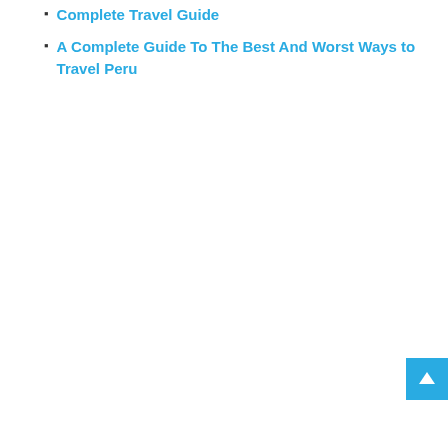Complete Travel Guide
A Complete Guide To The Best And Worst Ways to Travel Peru